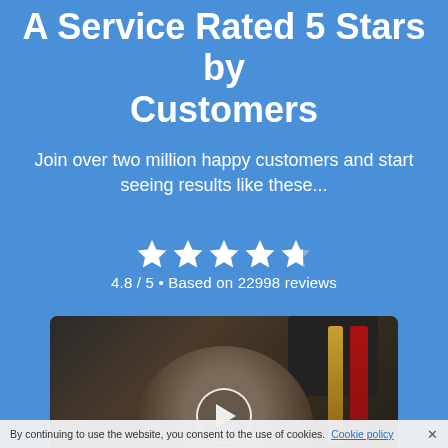A Service Rated 5 Stars by Customers
Join over two million happy customers and start seeing results like these...
[Figure (infographic): Five stars rating display showing 4 filled stars and 1 partial star, with text '4.8 / 5 • Based on 22998 reviews']
[Figure (photo): Video thumbnail showing a man sitting in a room with electric guitars hanging on the wall and audio equipment in the background. A white play button circle is overlaid in the center.]
By continuing to use the website, you consent to the use of cookies. Cookie policy ×